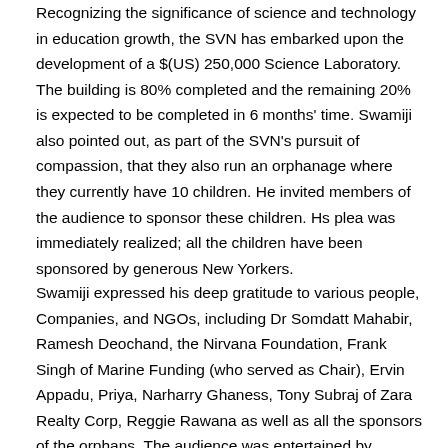Recognizing the significance of science and technology in education growth, the SVN has embarked upon the development of a $(US) 250,000 Science Laboratory. The building is 80% completed and the remaining 20% is expected to be completed in 6 months' time. Swamiji also pointed out, as part of the SVN's pursuit of compassion, that they also run an orphanage where they currently have 10 children. He invited members of the audience to sponsor these children. Hs plea was immediately realized; all the children have been sponsored by generous New Yorkers.
Swamiji expressed his deep gratitude to various people, Companies, and NGOs, including Dr Somdatt Mahabir, Ramesh Deochand, the Nirvana Foundation, Frank Singh of Marine Funding (who served as Chair), Ervin Appadu, Priya, Narharry Ghaness, Tony Subraj of Zara Realty Corp, Reggie Rawana as well as all the sponsors of the orphans. The audience was entertained by Freddie Ramcharran who